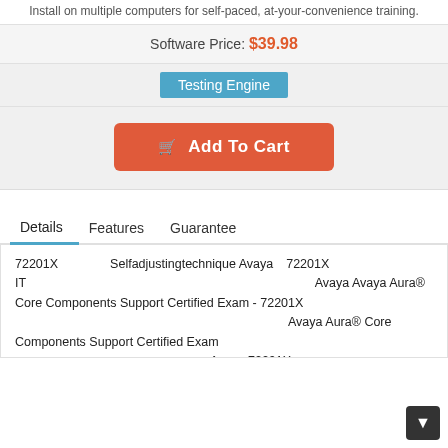Install on multiple computers for self-paced, at-your-convenience training.
Software Price: $39.98
Testing Engine
🛒 Add To Cart
Details   Features   Guarantee
72201X　　　　Selfadjustingtechnique Avaya　72201X　　　　　　　　　　　　　IT　　　　　　　　　　　　　　　　　　　　　　 Avaya Avaya Aura® Core Components Support Certified Exam - 72201X 　　　　　　　　　　　　　　　　　　　　　Avaya Aura® Core Components Support Certified Exam 　　　　　　　　　　　　　　　Avaya 72201X 　　　　 　　　　　　　　　　　　　　　　Selfadjustingtechnique 72201X